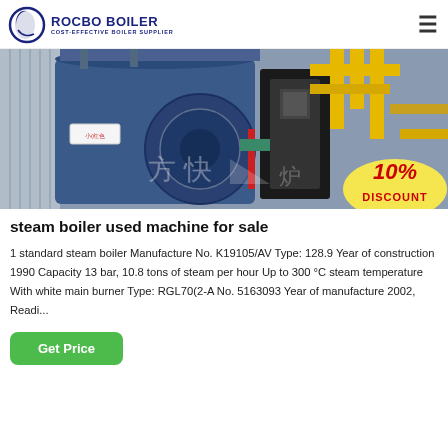[Figure (logo): Rocbo Boiler logo with circular icon and text 'ROCBO BOILER / COST-EFFECTIVE BOILER SUPPLIER']
[Figure (photo): Industrial steam boiler equipment in a factory setting with blue machinery, yellow pipes, and Chinese watermark text. 10% Discount badge in bottom right corner.]
steam boiler used machine for sale
1 standard steam boiler Manufacture No. K19105/AV Type: 128.9 Year of construction 1990 Capacity 13 bar, 10.8 tons of steam per hour Up to 300 °C steam temperature With white main burner Type: RGL70(2-A No. 5163093 Year of manufacture 2002, Readi...
Get Price